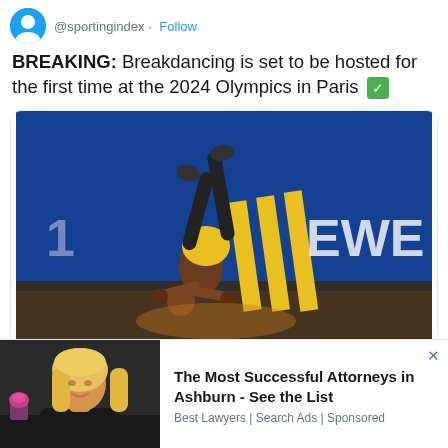@sportingindex · Follow
BREAKING: Breakdancing is set to be hosted for the first time at the 2024 Olympics in Paris ✅
[Figure (photo): A breakdancer performing a handstand move on stage with yellow shorts, blue illuminated background with 'EWE' text]
1:30 PM · Feb 21, 2019
[Figure (photo): Advertisement showing a blonde woman attorney and text 'The Most Successful Attorneys in Ashburn - See the List' from Best Lawyers | Search Ads | Sponsored]